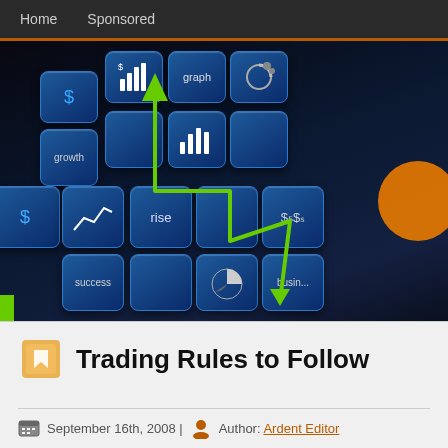Home   Sponsored
[Figure (illustration): Financial trading concept illustration with blue 3D tiles showing icons for $, growth, graph, rise, success, business, bar charts, pie chart, and a green line chart arrow overlaid on dark background]
Trading Rules to Follow
September 16th, 2008 | Author: Ardent Editor
When involved in the art of trading, there are rules that should help govern even